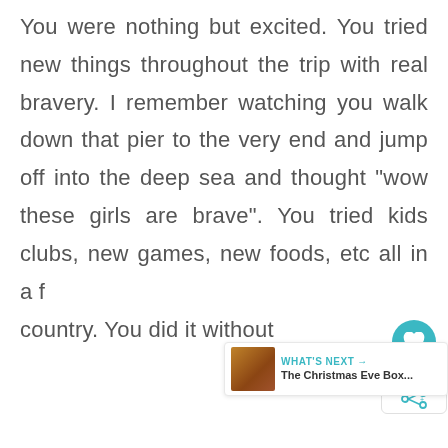You were nothing but excited. You tried new things throughout the trip with real bravery. I remember watching you walk down that pier to the very end and jump off into the deep sea and thought "wow these girls are brave". You tried kids clubs, new games, new foods, etc all in a foreign country. You did it without